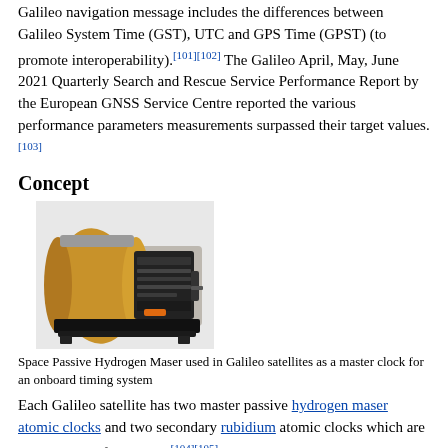Galileo navigation message includes the differences between Galileo System Time (GST), UTC and GPS Time (GPST) (to promote interoperability).[101][102] The Galileo April, May, June 2021 Quarterly Search and Rescue Service Performance Report by the European GNSS Service Centre reported the various performance parameters measurements surpassed their target values.[103]
Concept
[Figure (photo): Space Passive Hydrogen Maser device — a cylindrical gold-colored unit with black electronic components attached, used in Galileo satellites as a master clock for an onboard timing system.]
Space Passive Hydrogen Maser used in Galileo satellites as a master clock for an onboard timing system
Each Galileo satellite has two master passive hydrogen maser atomic clocks and two secondary rubidium atomic clocks which are independent of one other.[104][105] As precise and stable space-qualified atomic clocks are critical components to any satellite-